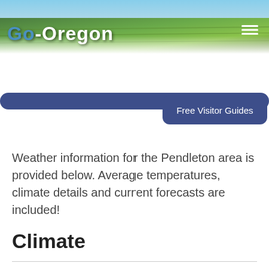[Figure (photo): Aerial landscape photo of green Oregon fields/farmland used as website header background]
Go-Oregon
Free Visitor Guides
Weather information for the Pendleton area is provided below. Average temperatures, climate details and current forecasts are included!
Climate